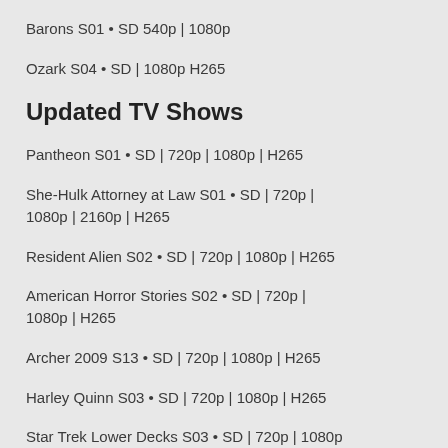Barons S01 • SD 540p | 1080p
Ozark S04 • SD | 1080p H265
Updated TV Shows
Pantheon S01 • SD | 720p | 1080p | H265
She-Hulk Attorney at Law S01 • SD | 720p | 1080p | 2160p | H265
Resident Alien S02 • SD | 720p | 1080p | H265
American Horror Stories S02 • SD | 720p | 1080p | H265
Archer 2009 S13 • SD | 720p | 1080p | H265
Harley Quinn S03 • SD | 720p | 1080p | H265
Star Trek Lower Decks S03 • SD | 720p | 1080p | H265